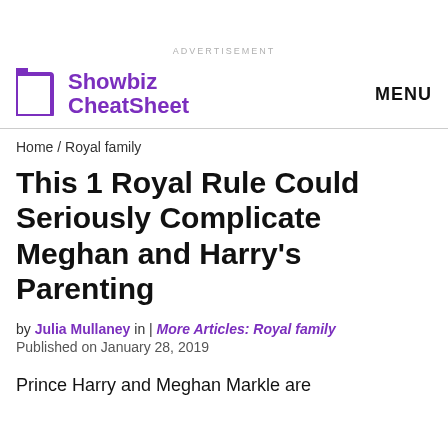ADVERTISEMENT
[Figure (logo): Showbiz CheatSheet logo with purple icon and MENU text on the right]
Home / Royal family
This 1 Royal Rule Could Seriously Complicate Meghan and Harry's Parenting
by Julia Mullaney in | More Articles: Royal family
Published on January 28, 2019
Prince Harry and Meghan Markle are